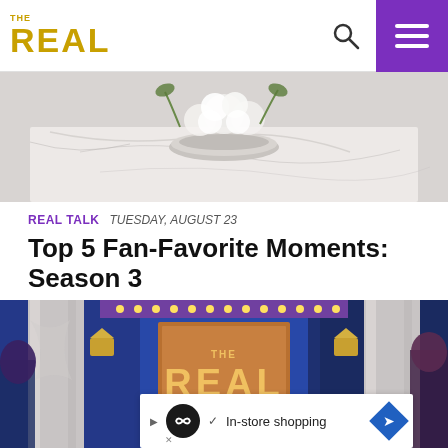THE REAL — navigation header with logo, search icon, and menu
[Figure (photo): Marble table with white floral centerpiece in silver bowl, cropped close]
REAL TALK  TUESDAY, AUGUST 23
Top 5 Fan-Favorite Moments: Season 3
We look back at some of our most memorable and emotional moments from Season 3!
[Figure (photo): The Real TV show stage with blue and purple lighting, marble pillars, gold 'THE REAL' logo centerpiece, and hosts partially visible at sides]
In-store shopping (advertisement bar)